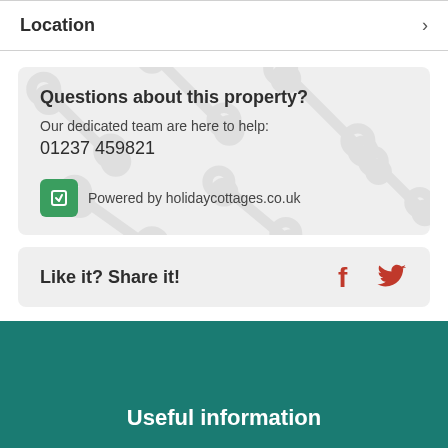Location
Questions about this property?
Our dedicated team are here to help:
01237 459821
Powered by holidaycottages.co.uk
Like it? Share it!
Useful information